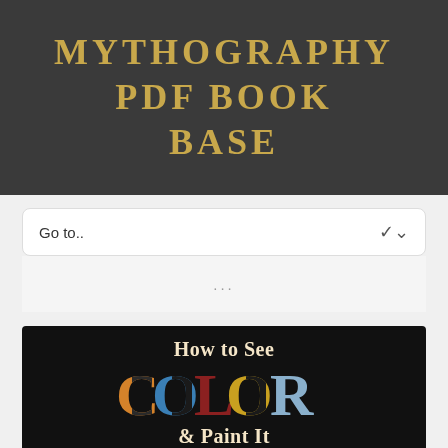MYTHOGRAPHY PDF BOOK BASE
Go to..
...
[Figure (illustration): Book cover of 'How to See Color & Paint It' with colorful large letters spelling COLOR on a black background, with a teal/blue painted surface at the bottom]